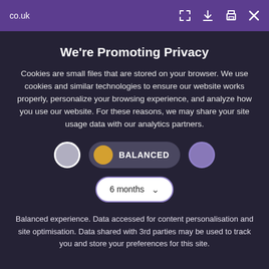co.uk
We're Promoting Privacy
Cookies are small files that are stored on your browser. We use cookies and similar technologies to ensure our website works properly, personalize your browsing experience, and analyze how you use our website. For these reasons, we may share your site usage data with our analytics partners.
[Figure (infographic): Cookie consent toggle selector showing three options: a grey circle (left), a gold/yellow dot with BALANCED label in a dark pill (centre, selected), and a purple circle (right). Below is a dropdown showing '6 months' with a chevron.]
Balanced experience. Data accessed for content personalisation and site optimisation. Data shared with 3rd parties may be used to track you and store your preferences for this site.